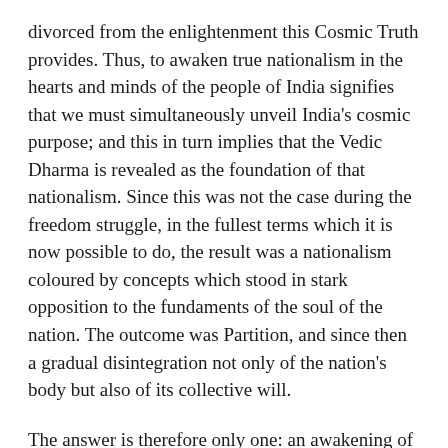divorced from the enlightenment this Cosmic Truth provides. Thus, to awaken true nationalism in the hearts and minds of the people of India signifies that we must simultaneously unveil India's cosmic purpose; and this in turn implies that the Vedic Dharma is revealed as the foundation of that nationalism. Since this was not the case during the freedom struggle, in the fullest terms which it is now possible to do, the result was a nationalism coloured by concepts which stood in stark opposition to the fundaments of the soul of the nation. The outcome was Partition, and since then a gradual disintegration not only of the nation's body but also of its collective will.
The answer is therefore only one: an awakening of true nationalism which is the unveiling of the nation's soul whose essence is the Cosmic Truth, and which, in turn, forms the indisputable [foundation of] Vedic Dharma.